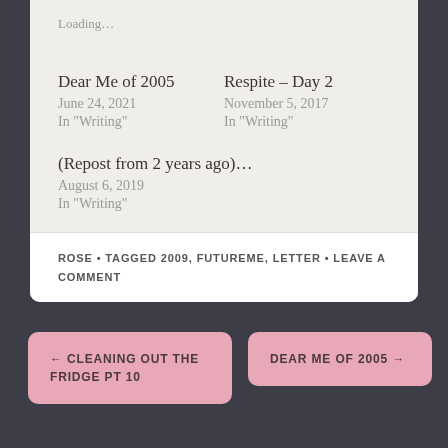Loading…
Dear Me of 2005
June 24, 2021
In "Writing"
Respite – Day 2
November 5, 2017
In "Writing"
(Repost from 2 years ago)…
August 6, 2019
In "Writing"
ROSE • TAGGED 2009, FUTUREME, LETTER • LEAVE A COMMENT
← CLEANING OUT THE FRIDGE PT 10
DEAR ME OF 2005 →